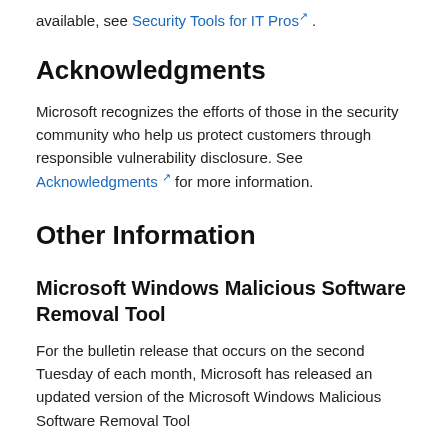available, see Security Tools for IT Pros .
Acknowledgments
Microsoft recognizes the efforts of those in the security community who help us protect customers through responsible vulnerability disclosure. See Acknowledgments for more information.
Other Information
Microsoft Windows Malicious Software Removal Tool
For the bulletin release that occurs on the second Tuesday of each month, Microsoft has released an updated version of the Microsoft Windows Malicious Software Removal Tool